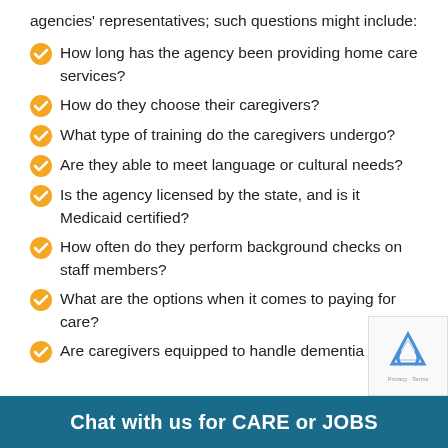agencies' representatives; such questions might include:
How long has the agency been providing home care services?
How do they choose their caregivers?
What type of training do the caregivers undergo?
Are they able to meet language or cultural needs?
Is the agency licensed by the state, and is it Medicaid certified?
How often do they perform background checks on staff members?
What are the options when it comes to paying for care?
Are caregivers equipped to handle dementia or…
Chat with us for CARE or JOBS